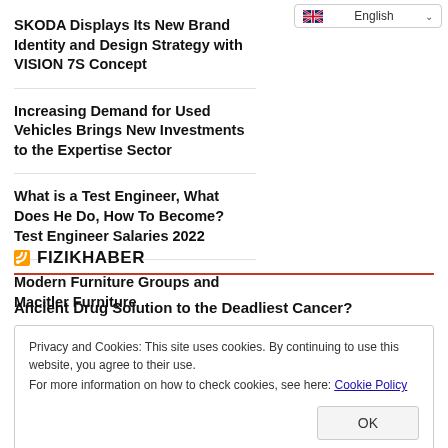[Figure (screenshot): Language selector dropdown showing flag and 'English' text with chevron]
SKODA Displays Its New Brand Identity and Design Strategy with VISION 7S Concept
Increasing Demand for Used Vehicles Brings New Investments to the Expertise Sector
What is a Test Engineer, What Does He Do, How To Become? Test Engineer Salaries 2022
Modern Furniture Groups and Macitler Furniture
FIZIKHABER
Ancient Drug Solution to the Deadliest Cancer?
Privacy and Cookies: This site uses cookies. By continuing to use this website, you agree to their use.
For more information on how to check cookies, see here: Cookie Policy